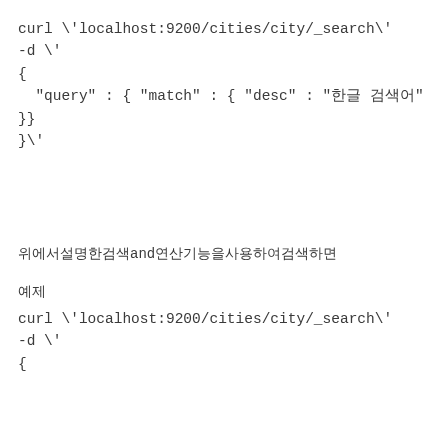curl \'localhost:9200/cities/city/_search\'
-d \'
{
  "query" : { "match" : { "desc" : "한글 검색어"
}}
}\'
위에서설명한검색and연산기능을사용하여검색하면
예제
curl \'localhost:9200/cities/city/_search\'
-d \'
{